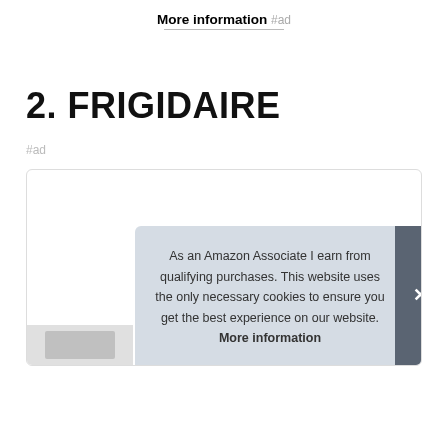More information #ad
2. FRIGIDAIRE
#ad
As an Amazon Associate I earn from qualifying purchases. This website uses the only necessary cookies to ensure you get the best experience on our website. More information